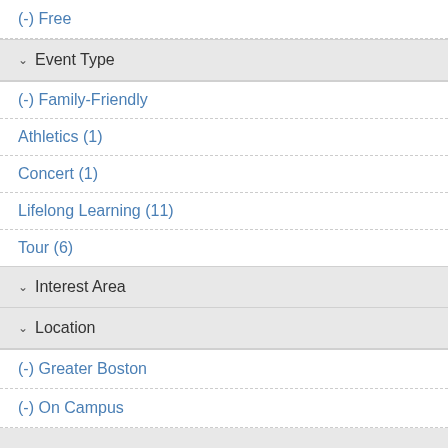(-) Free
Event Type
(-) Family-Friendly
Athletics (1)
Concert (1)
Lifelong Learning (11)
Tour (6)
Interest Area
Location
(-) Greater Boston
(-) On Campus